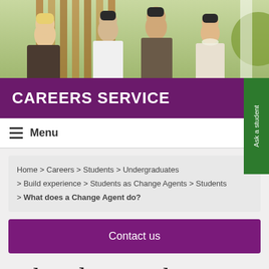[Figure (photo): Students walking and talking outdoors on campus]
CAREERS SERVICE
Menu
Ask a student
Home > Careers > Students > Undergraduates > Build experience > Students as Change Agents > Students > What does a Change Agent do?
Contact us
What does a Change Agent do?